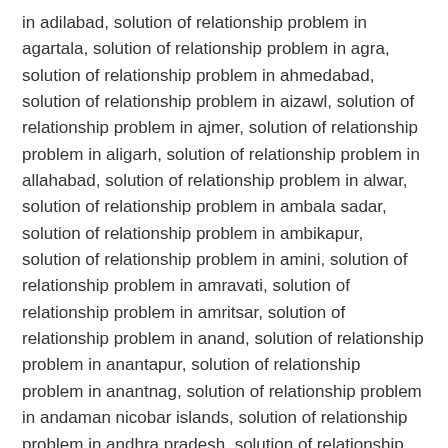in adilabad, solution of relationship problem in agartala, solution of relationship problem in agra, solution of relationship problem in ahmedabad, solution of relationship problem in aizawl, solution of relationship problem in ajmer, solution of relationship problem in aligarh, solution of relationship problem in allahabad, solution of relationship problem in alwar, solution of relationship problem in ambala sadar, solution of relationship problem in ambikapur, solution of relationship problem in amini, solution of relationship problem in amravati, solution of relationship problem in amritsar, solution of relationship problem in anand, solution of relationship problem in anantapur, solution of relationship problem in anantnag, solution of relationship problem in andaman nicobar islands, solution of relationship problem in andhra pradesh, solution of relationship problem in andrott, solution of relationship problem in arunachal pradesh, solution of relationship problem in asansol, solution of relationship problem in assam, solution of relationship problem in aurangabad, solution of relationship problem in baddi, solution of